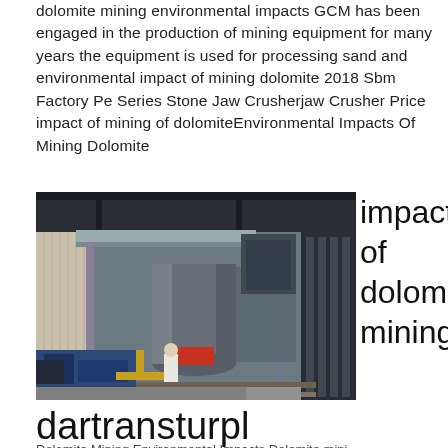dolomite mining environmental impacts GCM has been engaged in the production of mining equipment for many years the equipment is used for processing sand and environmental impact of mining dolomite 2018 Sbm Factory Pe Series Stone Jaw Crusherjaw Crusher Price impact of mining of dolomiteEnvironmental Impacts Of Mining Dolomite
[Figure (photo): Interior of an industrial mining/processing facility showing large grey machinery including a vertical mill or crusher, conveyor systems, metal walkways, and blue hydraulic equipment on the floor.]
impacts of dolomite mining
dartransturpl
Dolomite Mining Environmental Impacts Dolomite mini...